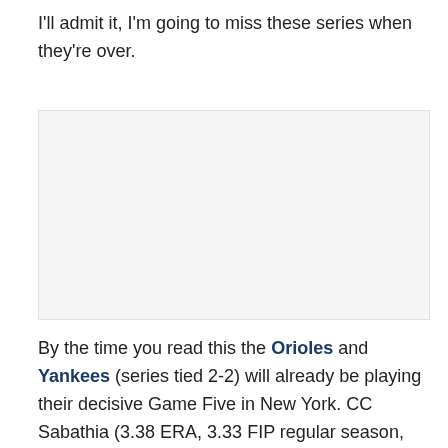I'll admit it, I'm going to miss these series when they're over.
[Figure (photo): Image placeholder / embedded photo (blank/white area)]
By the time you read this the Orioles and Yankees (series tied 2-2) will already be playing their decisive Game Five in New York. CC Sabathia (3.38 ERA, 3.33 FIP regular season, 2.08 ERA, 1.83 FIP postseason)